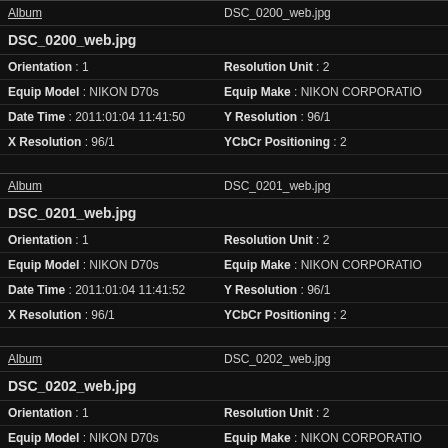| Album / Filename | Value |
| --- | --- |
| Album | DSC_0200_web.jpg |
| DSC_0200_web.jpg |  |
| Orientation : 1 | Resolution Unit : 2 |
| Equip Model : NIKON D70s | Equip Make : NIKON CORPORATION |
| Date Time : 2011:01:04 11:41:50 | Y Resolution : 96/1 |
| X Resolution : 96/1 | YCbCr Positioning : 2 |
| Album / Filename | Value |
| --- | --- |
| Album | DSC_0201_web.jpg |
| DSC_0201_web.jpg |  |
| Orientation : 1 | Resolution Unit : 2 |
| Equip Model : NIKON D70s | Equip Make : NIKON CORPORATION |
| Date Time : 2011:01:04 11:41:52 | Y Resolution : 96/1 |
| X Resolution : 96/1 | YCbCr Positioning : 2 |
| Album / Filename | Value |
| --- | --- |
| Album | DSC_0202_web.jpg |
| DSC_0202_web.jpg |  |
| Orientation : 1 | Resolution Unit : 2 |
| Equip Model : NIKON D70s | Equip Make : NIKON CORPORATION |